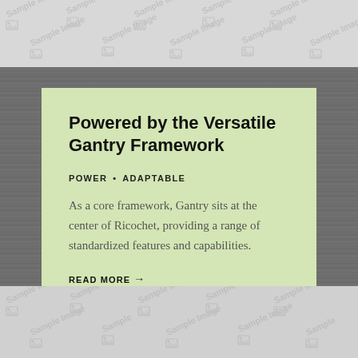[Figure (illustration): Sample image placeholder strip at the top of the page, showing repeating 'Sample Image' watermark text with image icons on a light grey background]
Powered by the Versatile Gantry Framework
POWER · ADAPTABLE
As a core framework, Gantry sits at the center of Ricochet, providing a range of standardized features and capabilities.
READ MORE →
[Figure (illustration): Sample image placeholder strip at the bottom of the page, showing repeating 'Sample Image' watermark text with image icons on a light grey background]